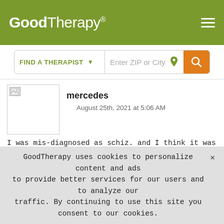GoodTherapy®
[Figure (screenshot): GoodTherapy website header with logo, hamburger menu, and search bar with FIND A THERAPIST dropdown and Enter ZIP or City input]
mercedes
August 25th, 2021 at 5:06 AM
I was mis-diagnosed as schiz. and I think it was too much dopamine. The anti-psych meds made me ill with Cyclic Vomiting Syndrome from which I suffered for ten years and almost died several times. I finally threw all the pills out, stopped puking, and got my life back. I now see a Dr. of FUNCTIONAL Medicine and I take supplements to
GoodTherapy uses cookies to personalize content and ads ✕ to provide better services for our users and to analyze our traffic. By continuing to use this site you consent to our cookies.